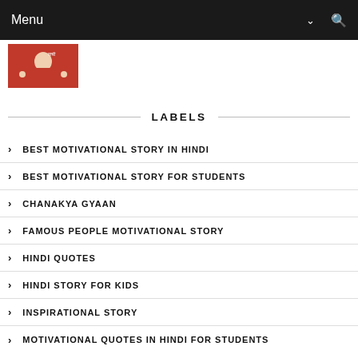Menu
[Figure (photo): Thumbnail image of a person in a red outfit]
LABELS
BEST MOTIVATIONAL STORY IN HINDI
BEST MOTIVATIONAL STORY FOR STUDENTS
CHANAKYA GYAAN
FAMOUS PEOPLE MOTIVATIONAL STORY
HINDI QUOTES
HINDI STORY FOR KIDS
INSPIRATIONAL STORY
MOTIVATIONAL QUOTES IN HINDI FOR STUDENTS